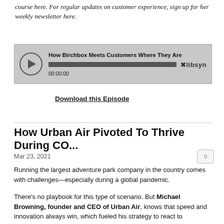course here. For regular updates on customer experience, sign up for her weekly newsletter here.
[Figure (screenshot): Libsyn audio player widget showing 'How Birchbox Meets Customers Where They Are' with play button, progress bar, and 00:00:00 timestamp]
Download this Episode
How Urban Air Pivoted To Thrive During CO...
Mar 23, 2021
Running the largest adventure park company in the country comes with challenges—especially during a global pandemic.
There's no playbook for this type of scenario. But Michael Browning, founder and CEO of Urban Air, knows that speed and innovation always win, which fueled his strategy to react to information quickly as it came in.
Reacting with speed allowed Urban Air to not only survive the pandemic but to thrive and find new ways to expand and grow.
Browning encourages his franchisees and staff to stay close to customers and get their feedback. Although the indoor trampoline and adventure parks are aimed at kids, the company views moms as the customers and kids as the